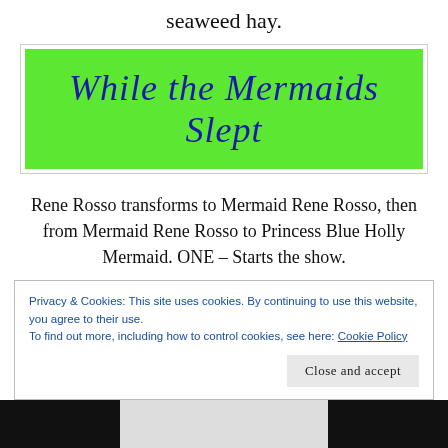seaweed hay.
[Figure (illustration): Green banner with cursive blue text reading 'While the Mermaids Slept']
Rene Rosso transforms to Mermaid Rene Rosso, then from Mermaid Rene Rosso to Princess Blue Holly Mermaid. ONE – Starts the show.
Privacy & Cookies: This site uses cookies. By continuing to use this website, you agree to their use.
To find out more, including how to control cookies, see here: Cookie Policy
Close and accept